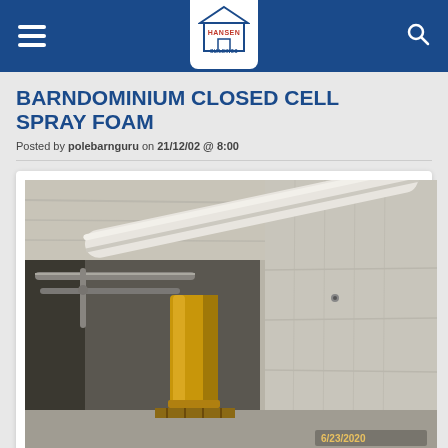Hansen Buildings navigation bar with logo
BARNDOMINIUM CLOSED CELL SPRAY FOAM
Posted by polebarnguru on 21/12/02 @ 8:00
[Figure (photo): Interior photo of a barndominium showing closed cell spray foam insulation applied to walls and ceiling. Visible are silver/grey foam-covered walls, white PVC pipe running diagonally across the top, metal pipes and conduit on the left side, and a yellow cylindrical tank or column in the center-left. The floor is concrete and the area is unfinished. A date stamp reads 6/23/2020 in the lower right corner.]